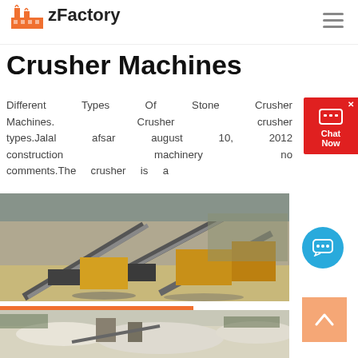zFactory
Crusher Machines
Different Types Of Stone Crusher Machines. Crusher crusher types.Jalal afsar august 10, 2012 construction machinery no comments.The crusher is a
[Figure (photo): Aerial view of a stone crusher machinery plant with conveyor belts and yellow heavy equipment]
[Figure (photo): Quarry site with stone crushing equipment and white rocky terrain]